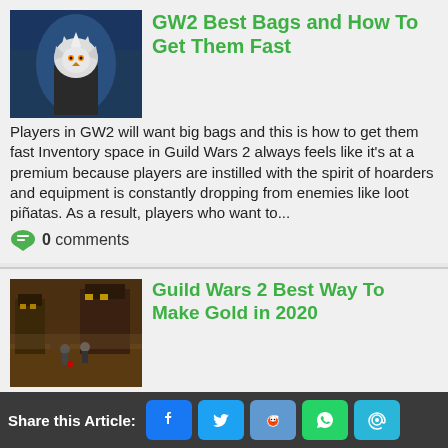[Figure (photo): Game screenshot thumbnail showing a character with white fur/feathers in dark armor against a blue background.]
GW2 Best Bags and How To Get Them Fast
Players in GW2 will want big bags and this is how to get them fast Inventory space in Guild Wars 2 always feels like it's at a premium because players are instilled with the spirit of hoarders and equipment is constantly dropping from enemies like loot piñatas. As a result, players who want to...
0 comments
[Figure (photo): Game screenshot thumbnail showing a dark fantasy town/dungeon scene with characters fighting.]
Guild Wars 2 Best Way To Make Gold in 2020
Ah, Gold in Guild Wars 2 is the primary currency that is used by players to purchase items for crafting, gear upgrades, and assorted other items without using any real-world currency.  The challenge is how do you get enough to purchase the items you really want or need?  You have to...
0 comments
Share this Article: